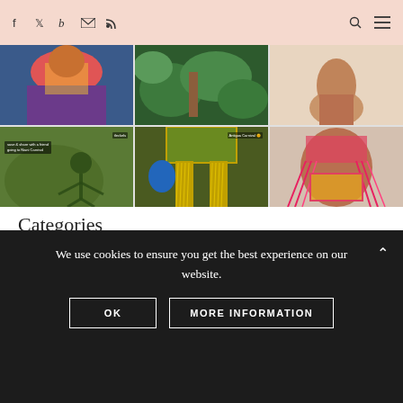Social media icons navigation bar
[Figure (photo): Grid of 6 carnival/festival photos showing people in colorful outfits, costumes with yellow fringes, grass shadow, and Antigua Carnival label]
Categories
Fitness
Hotels
We use cookies to ensure you get the best experience on our website.
OK
MORE INFORMATION